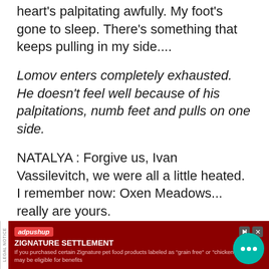heart's palpitating awfully. My foot's gone to sleep. There's something that keeps pulling in my side....
Lomov enters completely exhausted. He doesn't feel well because of his palpitations, numb feet and pulls on one side.
NATALYA : Forgive us, Ivan Vassilevitch, we were all a little heated. I remember now: Oxen Meadows... really are yours.
Natalya, surprisingly in a completely different tone gives clarification for how they treated him. She suddenly remembers that the Ox...
[Figure (other): Advertisement banner overlay: adpushup logo, ZIGNATURE SETTLEMENT ad in dark red background, legal notice bar on left, chat bubble widget on right]